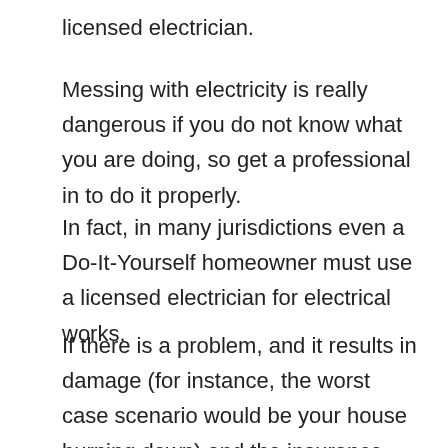licensed electrician.
Messing with electricity is really dangerous if you do not know what you are doing, so get a professional in to do it properly.
In fact, in many jurisdictions even a Do-It-Yourself homeowner must use a licensed electrician for electrical works.
If there is a problem, and it results in damage (for instance, the worst case scenario would be your house burning down) and the insurance company finds that you did the work and didn't have it properly inspected, any claim you make to your insurance company may be